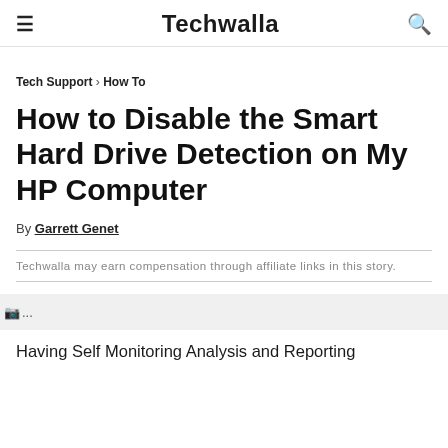≡   Techwalla   🔍
Tech Support › How To
How to Disable the Smart Hard Drive Detection on My HP Computer
By Garrett Genet
Techwalla may earn compensation through affiliate links in this story.
[Figure (photo): Loading image placeholder with green icon and ellipsis]
Having Self Monitoring Analysis and Reporting